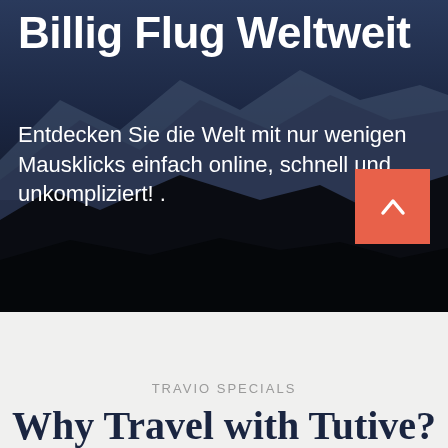[Figure (photo): Mountain landscape hero image with dark silhouetted mountain peaks against a dark blue twilight sky, serving as background for the hero section]
Billig Flug Weltweit
Entdecken Sie die Welt mit nur wenigen Mausklicks einfach online, schnell und unkompliziert! .
TRAVIO SPECIALS
Why Travel with Tutive?